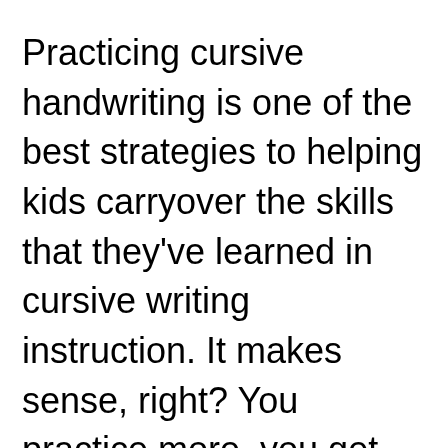Practicing cursive handwriting is one of the best strategies to helping kids carryover the skills that they've learned in cursive writing instruction. It makes sense, right? You practice more, you get better at it! But there is actually more to it. The more practice that a child gets when using creative and unique activities, the more they are